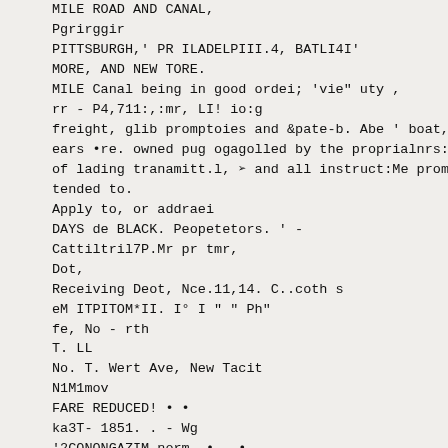MILE ROAD AND CANAL,
Pgrirggir
PITTSBURGH,' PR ILADELPIII.4, BATLI4I'
MORE, AND NEW TORE.
MILE Canal being in good ordei; 'vie" uty ,
rr - P4,711:,:mr, LI! io:g
freight, glib promptoies and &pate-b. Abe ' boat, li
ears •re. owned pug ogagolled by the proprialnrs:
of lading tranamitt.l, ➢ and all instruct:Me promptl
tended to.
Apply to, or addraei
DAYS de BLACK. Peopetetors. ' -
Cattiltril7P.Mr pr tmr,
Dot,
Receiving Deot, Nce.11,14. C..coth s
eM ITPITOM*II. I° I " " Ph"
fe, No - rth
T. LL
No. T. Wert Ave, New Tacit
N1M1mov
FARE REDUCED! • •
ka3T- 1851. . - Wg
'2CONONGAZIM norm. • - •
via Brom:mine and Cumberlond, to Baltiz' nor,
and Philadelphia.